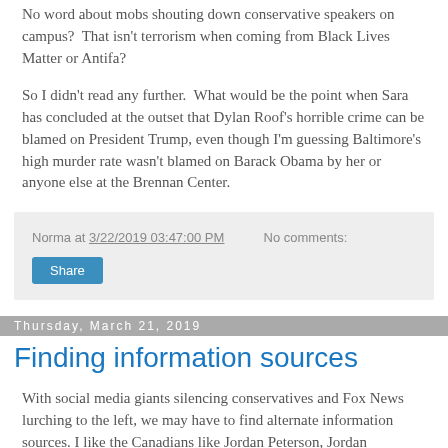No word about mobs shouting down conservative speakers on campus?  That isn't terrorism when coming from Black Lives Matter or Antifa?
So I didn't read any further.  What would be the point when Sara has concluded at the outset that Dylan Roof's horrible crime can be blamed on President Trump, even though I'm guessing Baltimore's high murder rate wasn't blamed on Barack Obama by her or anyone else at the Brennan Center.
Norma at 3/22/2019 03:47:00 PM    No comments:
Share
Thursday, March 21, 2019
Finding information sources
With social media giants silencing conservatives and Fox News lurching to the left, we may have to find alternate information sources. I like the Canadians like Jordan Peterson, Jordan Peterson, Scott Scott, and others will